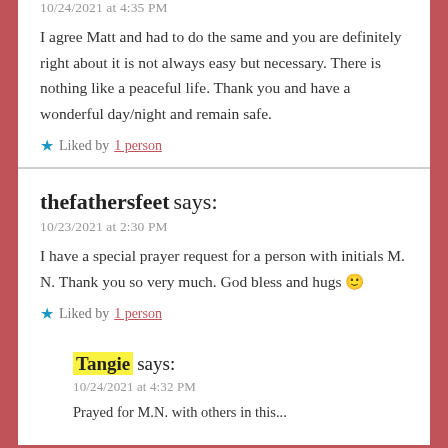10/24/2021 at 4:35 PM
I agree Matt and had to do the same and you are definitely right about it is not always easy but necessary. There is nothing like a peaceful life. Thank you and have a wonderful day/night and remain safe.
Liked by 1 person
thefathersfeet says:
10/23/2021 at 2:30 PM
I have a special prayer request for a person with initials M. N. Thank you so very much. God bless and hugs 🙂
Liked by 1 person
Tangie says:
10/24/2021 at 4:32 PM
Prayed for M.N. with others in this...